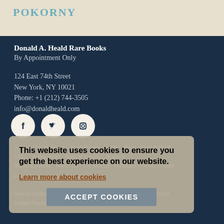POKORNY
Donald A. Heald Rare Books
By Appointment Only
124 East 74th Street
New York, NY 10021
Phone: +1 (212) 744-3505
info@donaldheald.com
[Figure (other): Three circular social media icons: Facebook, Twitter, Instagram on dark navy background]
Search Our Inventory   Rare Books   Prints   Maps   New Arrivals
News & Events   About Us   Contact Us   Glossary   Terms of Sale
How to Order   Shopping Cart   My Account   Create an Account
Forgot Password
This website uses cookies to ensure you get the best experience on our website.
Learn more about cookies
ACCEPT COOKIES